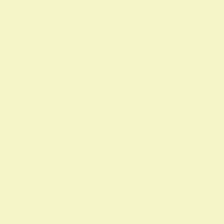repeat over the course of our live...
Here's how it works: According to... has a special file to store memori... emotions.
The amygdala is the processing c... During a traumatic event it scree... five senses take in.
Think of it this way: The amygdal... sounds, sights, smells, tastes, an... keeping.
When certain powerful memories... there may be an emotional or bo... realize what prompts us to get so... kind of stored memory,
Emotional messages of rejection... into adulthood. These experience... of the in a blood the...